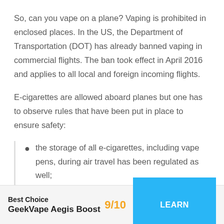So, can you vape on a plane? Vaping is prohibited in enclosed places. In the US, the Department of Transportation (DOT) has already banned vaping in commercial flights. The ban took effect in April 2016 and applies to all local and foreign incoming flights.
E-cigarettes are allowed aboard planes but one has to observe rules that have been put in place to ensure safety:
the storage of all e-cigarettes, including vape pens, during air travel has been regulated as well;
neither should e-cigarettes be charged on planes
Best Choice  GeekVape Aegis Boost  9/10  LEARN